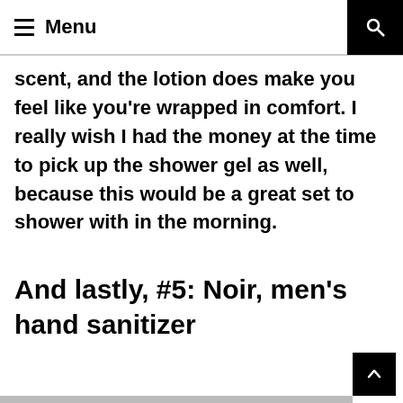≡ Menu
scent, and the lotion does make you feel like you're wrapped in comfort. I really wish I had the money at the time to pick up the shower gel as well, because this would be a great set to shower with in the morning.
And lastly, #5: Noir, men's hand sanitizer